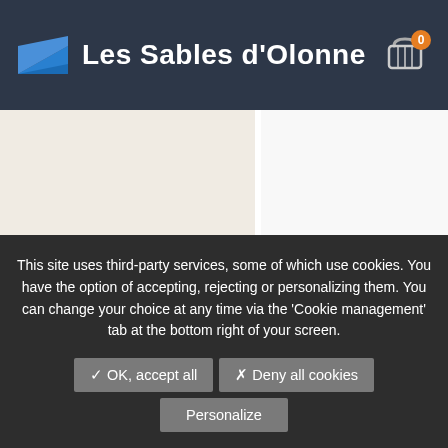Les Sables d'Olonne
[Figure (screenshot): Website page content area with two-panel layout: left beige/cream panel and right white panel, with a brown gradient section at bottom right]
This site uses third-party services, some of which use cookies. You have the option of accepting, rejecting or personalizing them. You can change your choice at any time via the 'Cookie management' tab at the bottom right of your screen.
✓ OK, accept all
✗ Deny all cookies
Personalize